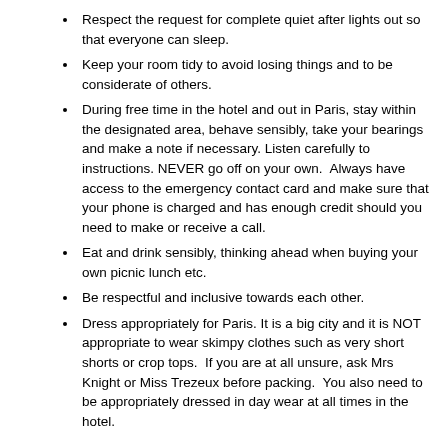Respect the request for complete quiet after lights out so that everyone can sleep.
Keep your room tidy to avoid losing things and to be considerate of others.
During free time in the hotel and out in Paris, stay within the designated area, behave sensibly, take your bearings and make a note if necessary. Listen carefully to instructions. NEVER go off on your own.  Always have access to the emergency contact card and make sure that your phone is charged and has enough credit should you need to make or receive a call.
Eat and drink sensibly, thinking ahead when buying your own picnic lunch etc.
Be respectful and inclusive towards each other.
Dress appropriately for Paris. It is a big city and it is NOT appropriate to wear skimpy clothes such as very short shorts or crop tops.  If you are at all unsure, ask Mrs Knight or Miss Trezeux before packing.  You also need to be appropriately dressed in day wear at all times in the hotel.